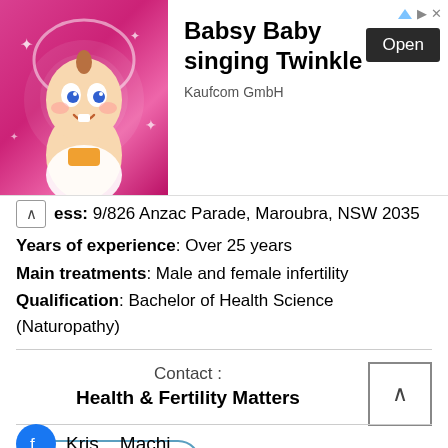[Figure (screenshot): Advertisement banner for 'Babsy Baby singing Twinkle' by Kaufcom GmbH with animated baby character on pink background and Open button]
Address: 9/826 Anzac Parade, Maroubra, NSW 2035
Years of experience: Over 25 years
Main treatments: Male and female infertility
Qualification: Bachelor of Health Science (Naturopathy)
Contact : Health & Fertility Matters
Visit Website
Kris... Machi...